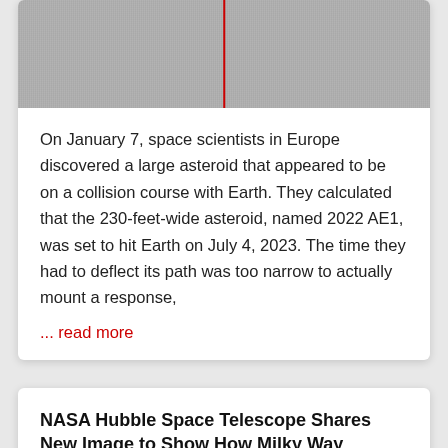[Figure (photo): Grayscale noisy image of an asteroid or space object with a red vertical crosshair line]
On January 7, space scientists in Europe discovered a large asteroid that appeared to be on a collision course with Earth. They calculated that the 230-feet-wide asteroid, named 2022 AE1, was set to hit Earth on July 4, 2023. The time they had to deflect its path was too narrow to actually mount a response,
... read more
NASA Hubble Space Telescope Shares New Image to Show How Milky Way